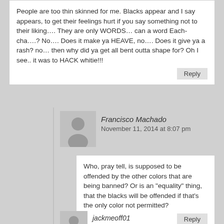People are too thin skinned for me. Blacks appear and I say appears, to get their feelings hurt if you say something not to their liking…. They are only WORDS… can a word Each-cha….? No…. Does it make ya HEAVE, no…. Does it give ya a rash? no… then why did ya get all bent outta shape for? Oh I see.. it was to HACK whitie!!!
Reply
Francisco Machado
November 11, 2014 at 8:07 pm
Who, pray tell, is supposed to be offended by the other colors that are being banned? Or is an “equality” thing, that the blacks will be offended if that’s the only color not permitted?
Reply
jackmeoff01
November 18, 2014 at 8:00 pm